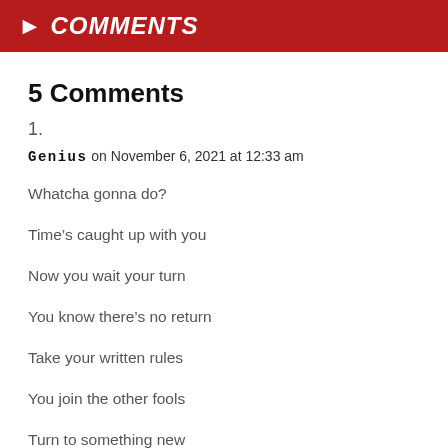> COMMENTS
5 Comments
1.
Genius on November 6, 2021 at 12:33 am
Whatcha gonna do?
Time’s caught up with you
Now you wait your turn
You know there’s no return
Take your written rules
You join the other fools
Turn to something new
Now it’s killing you
First it was the bomb
Vietnam napalm
Disillusioning
You push the needle in
From life you escape
Reality’s that way